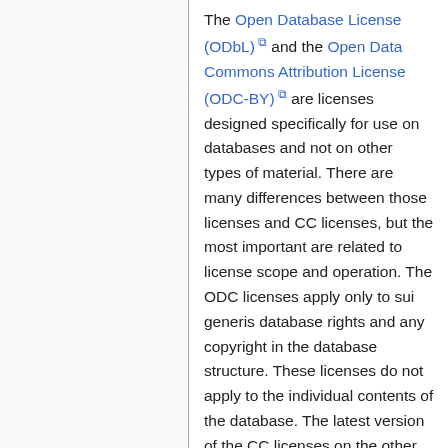The Open Database License (ODbL) and the Open Data Commons Attribution License (ODC-BY) are licenses designed specifically for use on databases and not on other types of material. There are many differences between those licenses and CC licenses, but the most important are related to license scope and operation. The ODC licenses apply only to sui generis database rights and any copyright in the database structure. These licenses do not apply to the individual contents of the database. The latest version of the CC licenses on the other hand, apply to sui generis database rights and all copyright and neighboring rights in the database structure as well as the contents. See above for more detail about how past